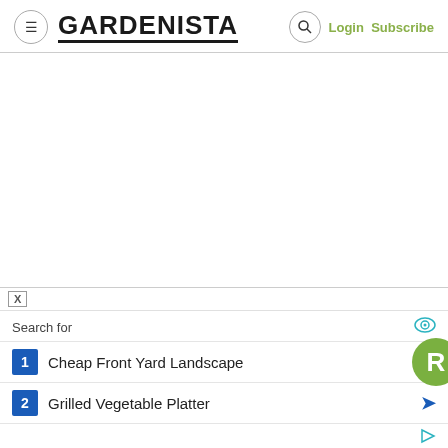GARDENISTA | Login Subscribe
[Figure (screenshot): White blank content area - advertisement placeholder]
X
Search for
1  Cheap Front Yard Landscape
2  Grilled Vegetable Platter